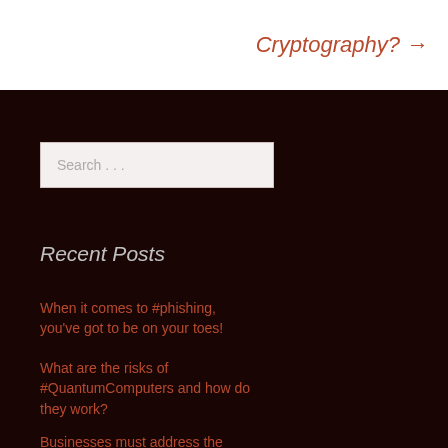Cryptography? →
Search ...
Recent Posts
When it comes to #phishing, you've got to be on your toes!
What are the risks of #QuantumComputers and how do they work?
Businesses must address the risks of #QuantumComputing NOW!
Why haven't we managed to